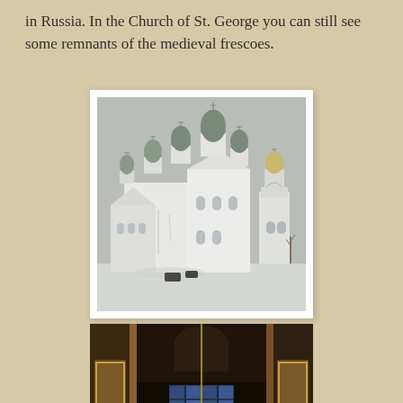in Russia. In the Church of St. George you can still see some remnants of the medieval frescoes.
[Figure (photo): Exterior photograph of a Russian Orthodox church with multiple blue onion domes and a bell tower, taken in winter with snow on the ground. White-washed walls, grey overcast sky.]
[Figure (photo): Interior photograph of a Russian Orthodox church showing a long nave with tall columns, a large chandelier, frescoes on the walls and ceiling, and stained glass windows at the far end.]